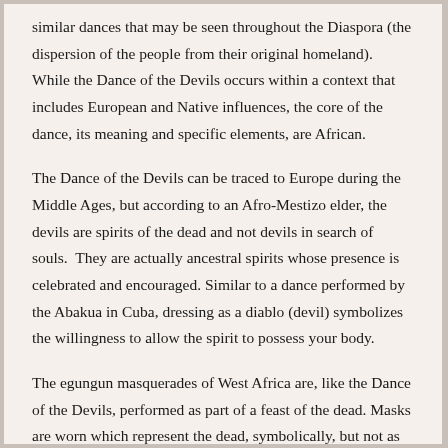similar dances that may be seen throughout the Diaspora (the dispersion of the people from their original homeland). While the Dance of the Devils occurs within a context that includes European and Native influences, the core of the dance, its meaning and specific elements, are African.
The Dance of the Devils can be traced to Europe during the Middle Ages, but according to an Afro-Mestizo elder, the devils are spirits of the dead and not devils in search of souls.  They are actually ancestral spirits whose presence is celebrated and encouraged. Similar to a dance performed by the Abakua in Cuba, dressing as a diablo (devil) symbolizes the willingness to allow the spirit to possess your body.
The egungun masquerades of West Africa are, like the Dance of the Devils, performed as part of a feast of the dead. Masks are worn which represent the dead, symbolically, but not as individual personas, functioning with a spirit to do homage to ancestors, though...